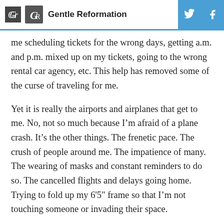Gentle Reformation
me scheduling tickets for the wrong days, getting a.m. and p.m. mixed up on my tickets, going to the wrong rental car agency, etc. This help has removed some of the curse of traveling for me.
Yet it is really the airports and airplanes that get to me. No, not so much because I'm afraid of a plane crash. It's the other things. The frenetic pace. The crush of people around me. The impatience of many. The wearing of masks and constant reminders to do so. The cancelled flights and delays going home. Trying to fold up my 6'5" frame so that I'm not touching someone or invading their space.